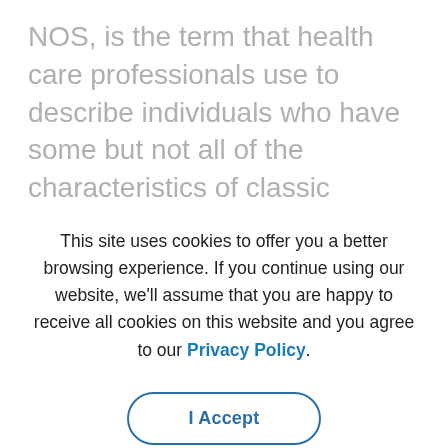NOS, is the term that health care professionals use to describe individuals who have some but not all of the characteristics of classic autism. They
This site uses cookies to offer you a better browsing experience. If you continue using our website, we'll assume that you are happy to receive all cookies on this website and you agree to our Privacy Policy.
I Accept